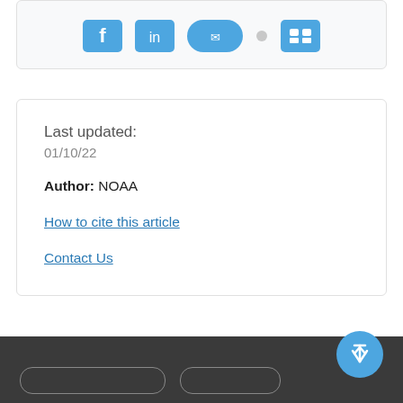[Figure (other): Partial view of social media share icons (blue rounded rectangle buttons) at top of card]
Last updated:
01/10/22
Author: NOAA
How to cite this article
Contact Us
Dark footer bar with scroll-to-top button and footer navigation pills